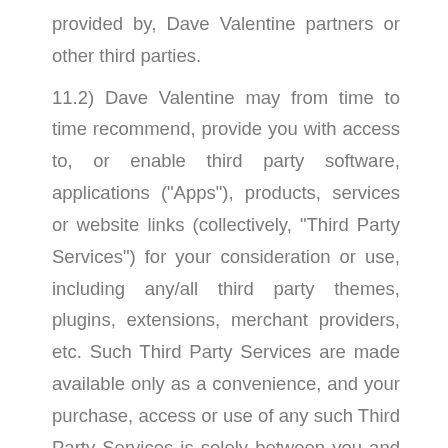provided by, Dave Valentine partners or other third parties.
11.2) Dave Valentine may from time to time recommend, provide you with access to, or enable third party software, applications ("Apps"), products, services or website links (collectively, "Third Party Services") for your consideration or use, including any/all third party themes, plugins, extensions, merchant providers, etc. Such Third Party Services are made available only as a convenience, and your purchase, access or use of any such Third Party Services is solely between you and the applicable third party service